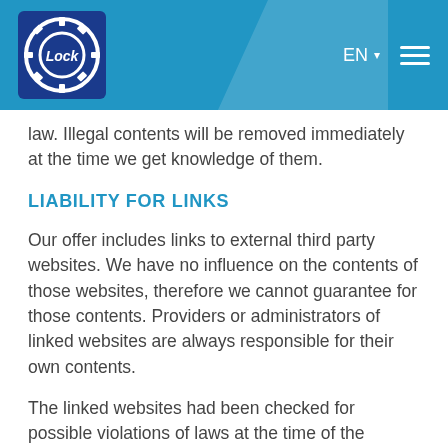[Figure (logo): Lock brand logo — gear icon with 'Lock' text inside, white on dark blue background, set within a blue header bar with EN language selector and hamburger menu]
law. Illegal contents will be removed immediately at the time we get knowledge of them.
LIABILITY FOR LINKS
Our offer includes links to external third party websites. We have no influence on the contents of those websites, therefore we cannot guarantee for those contents. Providers or administrators of linked websites are always responsible for their own contents.
The linked websites had been checked for possible violations of laws at the time of the publishing of